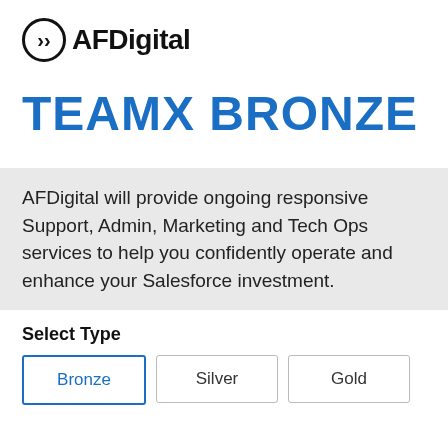[Figure (logo): AFDigital logo with a circle containing a right-pointing chevron/arrow, followed by bold text 'AFDigital']
TEAMX BRONZE
[Figure (infographic): Navigation arrows pointing left and right in blue, flanking a light grey content area]
AFDigital will provide ongoing responsive Support, Admin, Marketing and Tech Ops services to help you confidently operate and enhance your Salesforce investment.
Select Type
Bronze (active/selected)
Silver
Gold